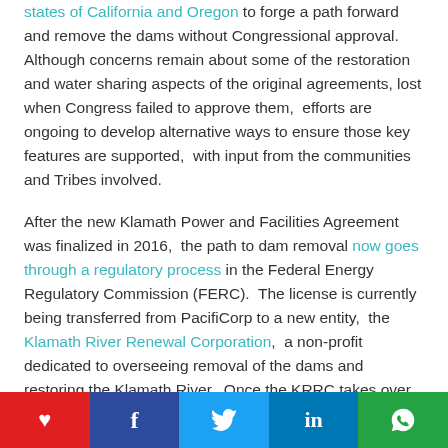states of California and Oregon to forge a path forward and remove the dams without Congressional approval.  Although concerns remain about some of the restoration and water sharing aspects of the original agreements, lost when Congress failed to approve them,  efforts are ongoing to develop alternative ways to ensure those key features are supported,  with input from the communities and Tribes involved.
After the new Klamath Power and Facilities Agreement was finalized in 2016,  the path to dam removal now goes through a regulatory process in the Federal Energy Regulatory Commission (FERC).  The license is currently being transferred from PacifiCorp to a new entity,  the Klamath River Renewal Corporation,  a non-profit dedicated to overseeing removal of the dams and restoring the Klamath River.  Once the KRRC takes over operation of the dams,  the process to
social share bar with heart, facebook, twitter, linkedin, whatsapp